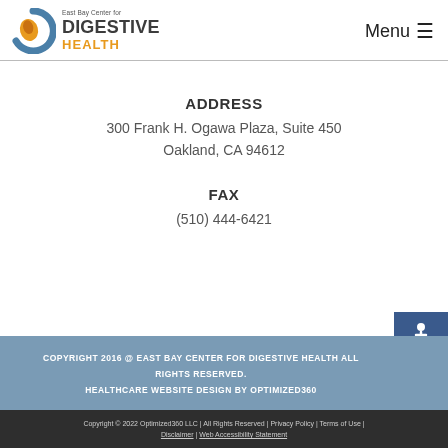East Bay Center for DIGESTIVE HEALTH | Menu
ADDRESS
300 Frank H. Ogawa Plaza, Suite 450
Oakland, CA 94612
FAX
(510) 444-6421
COPYRIGHT 2016 @ EAST BAY CENTER FOR DIGESTIVE HEALTH ALL RIGHTS RESERVED. HEALTHCARE WEBSITE DESIGN BY OPTIMIZED360
Copyright © 2022 Optimized360 LLC | All Rights Reserved | Privacy Policy | Terms of Use | Disclaimer | Web Accessibility Statement